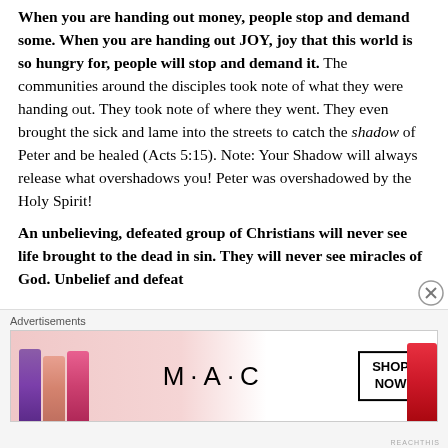When you are handing out money, people stop and demand some. When you are handing out JOY, joy that this world is so hungry for, people will stop and demand it. The communities around the disciples took note of what they were handing out. They took note of where they went. They even brought the sick and lame into the streets to catch the shadow of Peter and be healed (Acts 5:15). Note: Your Shadow will always release what overshadows you! Peter was overshadowed by the Holy Spirit!

An unbelieving, defeated group of Christians will never see life brought to the dead in sin. They will never see miracles of God. Unbelief and defeat
[Figure (other): MAC Cosmetics advertisement showing colorful lipsticks with 'SHOP NOW' button]